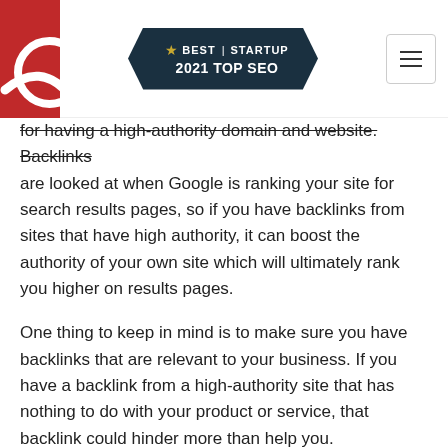BEST STARTUP 2021 TOP SEO
for having a high-authority domain and website. Backlinks are looked at when Google is ranking your site for search results pages, so if you have backlinks from sites that have high authority, it can boost the authority of your own site which will ultimately rank you higher on results pages.
One thing to keep in mind is to make sure you have backlinks that are relevant to your business. If you have a backlink from a high-authority site that has nothing to do with your product or service, that backlink could hinder more than help you.
EXAMPLES OF CONTENT MARKETING
Content marketing is all about using that unique content